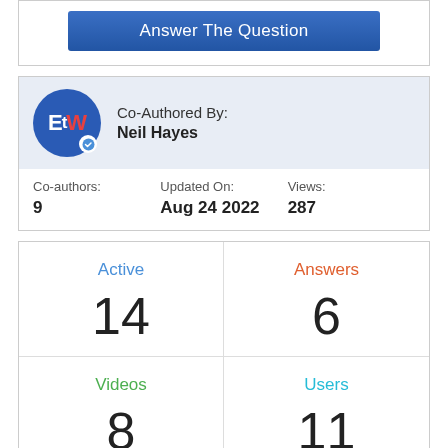Answer The Question
Co-Authored By:
Neil Hayes
| Co-authors: | Updated On: | Views: |
| --- | --- | --- |
| 9 | Aug 24 2022 | 287 |
| Active | Answers | Videos | Users |
| --- | --- | --- | --- |
| 14 | 6 | 8 | 11 |